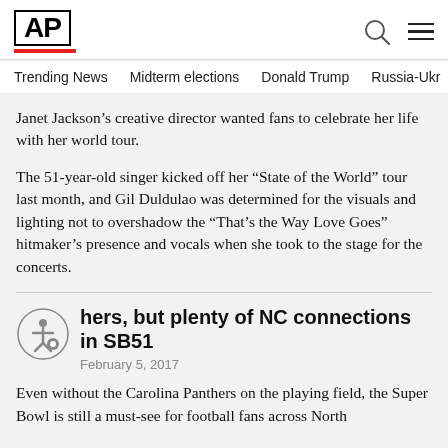AP
Trending News   Midterm elections   Donald Trump   Russia-Ukr
Janet Jackson’s creative director wanted fans to celebrate her life with her world tour.
The 51-year-old singer kicked off her “State of the World” tour last month, and Gil Duldulao was determined for the visuals and lighting not to overshadow the “That’s the Way Love Goes” hitmaker’s presence and vocals when she took to the stage for the concerts.
hers, but plenty of NC connections in SB51
February 5, 2017
Even without the Carolina Panthers on the playing field, the Super Bowl is still a must-see for football fans across North